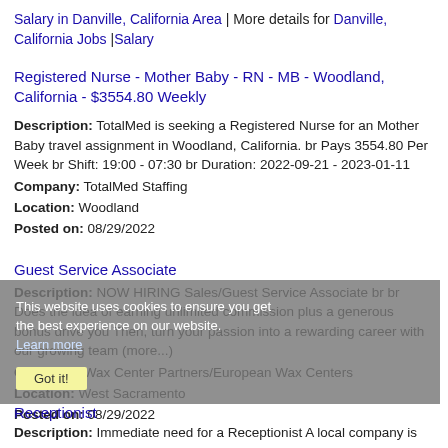Salary in Danville, California Area | More details for Danville, California Jobs |Salary
Registered Nurse - Mother Baby - RN - MB - Woodland, California - $3554.80 Weekly
Description: TotalMed is seeking a Registered Nurse for an Mother Baby travel assignment in Woodland, California. br Pays 3554.80 Per Week br Shift: 19:00 - 07:30 br Duration: 2022-09-21 - 2023-01-11
Company: TotalMed Staffing
Location: Woodland
Posted on: 08/29/2022
Guest Service Associate
Description: NOW HIRING Sales/Guest Service Associate br br Does the idea of earning unlimited commission plus a generous bonus drive you Then, turn your passion into a rewarding career with our growing team (more...)
Company: Wax Center Partners/European Wax Centers
Location: West Sacramento
Posted on: 08/29/2022
Receptionist
Description: Immediate need for a Receptionist A local company is...